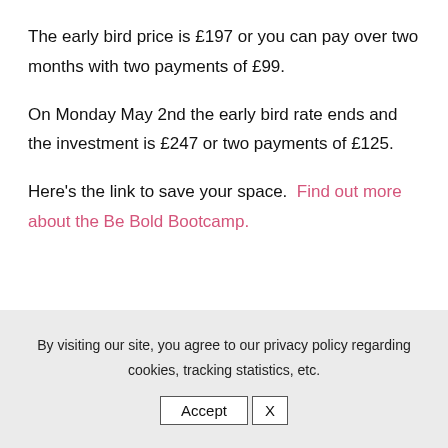The early bird price is £197 or you can pay over two months with two payments of £99.
On Monday May 2nd the early bird rate ends and the investment is £247 or two payments of £125.
Here's the link to save your space.  Find out more about the Be Bold Bootcamp.
By visiting our site, you agree to our privacy policy regarding cookies, tracking statistics, etc.